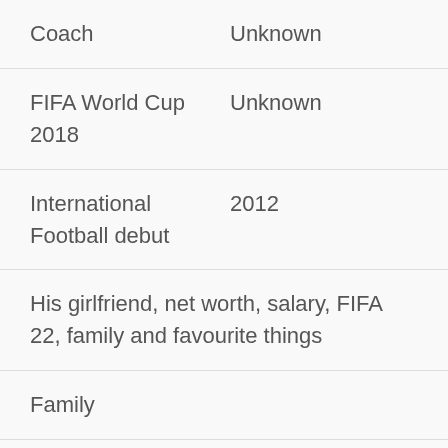| Coach | Unknown |
| FIFA World Cup 2018 | Unknown |
| International Football debut | 2012 |
| His girlfriend, net worth, salary, FIFA 22, family and favourite things |  |
| Family |  |